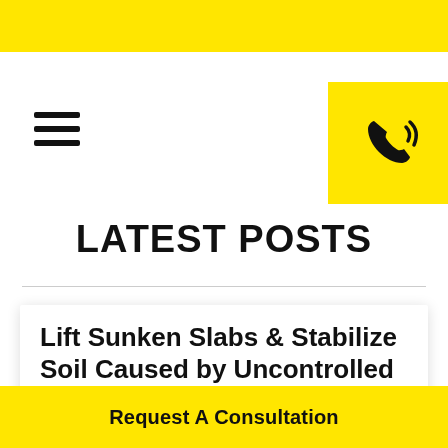[Figure (illustration): Hamburger menu icon (three horizontal lines) on the left side of the navigation area]
[Figure (illustration): Yellow phone call button in the top-right corner with a phone handset icon with signal lines]
LATEST POSTS
Lift Sunken Slabs & Stabilize Soil Caused by Uncontrolled Water
Request A Consultation